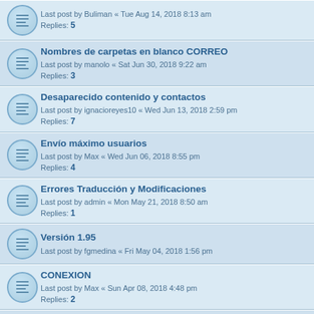Last post by Buliman « Tue Aug 14, 2018 8:13 am
Replies: 5
Nombres de carpetas en blanco CORREO
Last post by manolo « Sat Jun 30, 2018 9:22 am
Replies: 3
Desaparecido contenido y contactos
Last post by ignacioreyes10 « Wed Jun 13, 2018 2:59 pm
Replies: 7
Envío máximo usuarios
Last post by Max « Wed Jun 06, 2018 8:55 pm
Replies: 4
Errores Traducción y Modificaciones
Last post by admin « Mon May 21, 2018 8:50 am
Replies: 1
Versión 1.95
Last post by fgmedina « Fri May 04, 2018 1:56 pm
CONEXION
Last post by Max « Sun Apr 08, 2018 4:48 pm
Replies: 2
conexion al servidor
Last post by DAMIANUSH « Thu Mar 22, 2018 11:47 pm
Replies: 2
Error al sincronizar
Last post by admin « Wed Mar 14, 2018 11:08 am
Replies: 9
Comprobación base de datos
Last post by Max « Sun Mar 04, 2018 1:07 am
Replies: 1